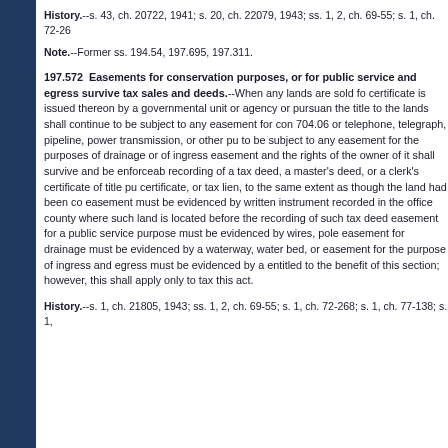History.--s. 43, ch. 20722, 1941; s. 20, ch. 22079, 1943; ss. 1, 2, ch. 69-55; s. 1, ch. 72-26
Note.--Former ss. 194.54, 197.695, 197.311.
197.572  Easements for conservation purposes, or for public service and egress survive tax sales and deeds.--When any lands are sold for certificate is issued thereon by a governmental unit or agency or pursuant to the title to the lands shall continue to be subject to any easement for con 704.06 or telephone, telegraph, pipeline, power transmission, or other pu to be subject to any easement for the purposes of drainage or of ingress easement and the rights of the owner of it shall survive and be enforceab recording of a tax deed, a master's deed, or a clerk's certificate of title pu certificate, or tax lien, to the same extent as though the land had been co easement must be evidenced by written instrument recorded in the office county where such land is located before the recording of such tax deed easement for a public service purpose must be evidenced by wires, pole easement for drainage must be evidenced by a waterway, water bed, or easement for the purpose of ingress and egress must be evidenced by a entitled to the benefit of this section; however, this shall apply only to tax this act.
History.--s. 1, ch. 21805, 1943; ss. 1, 2, ch. 69-55; s. 1, ch. 72-268; s. 1, ch. 77-138; s. 1,